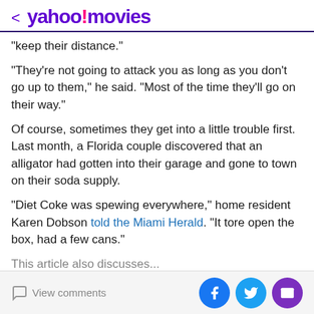< yahoo!movies
“keep their distance.”
“They’re not going to attack you as long as you don’t go up to them,” he said. “Most of the time they’ll go on their way.”
Of course, sometimes they get into a little trouble first. Last month, a Florida couple discovered that an alligator had gotten into their garage and gone to town on their soda supply.
“Diet Coke was spewing everywhere,” home resident Karen Dobson told the Miami Herald. “It tore open the box, had a few cans.”
This article also discusses...
View comments